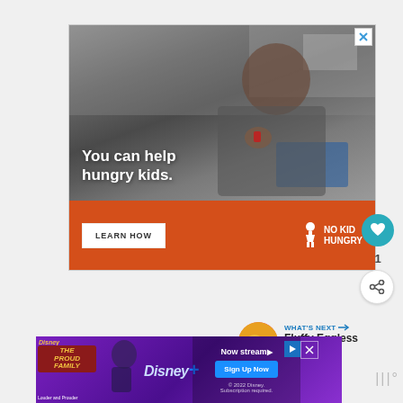[Figure (infographic): No Kid Hungry advertisement banner showing a young boy eating, with text 'You can help hungry kids.' and an orange bar with 'LEARN HOW' button and No Kid Hungry logo]
[Figure (infographic): Disney+ advertisement for The Proud Family showing purple background with character, Disney+ logo, and 'Sign Up Now' button with 'Now streaming' text]